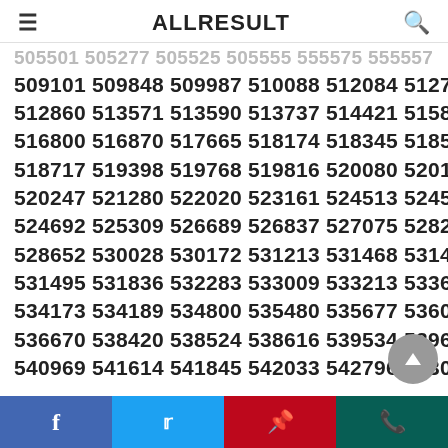ALLRESULT
509101 509848 509987 510088 512084 512732
512860 513571 513590 513737 514421 515852
516800 516870 517665 518174 518345 518506
518717 519398 519768 519816 520080 520105
520247 521280 522020 523161 524513 524564
524692 525309 526689 526837 527075 528243
528652 530028 530172 531213 531468 531471
531495 531836 532283 533009 533213 533636
534173 534189 534800 535480 535677 536023
536670 538420 538524 538616 539534 539697
540969 541614 541845 542033 542796 543035
Facebook Twitter Pinterest WhatsApp